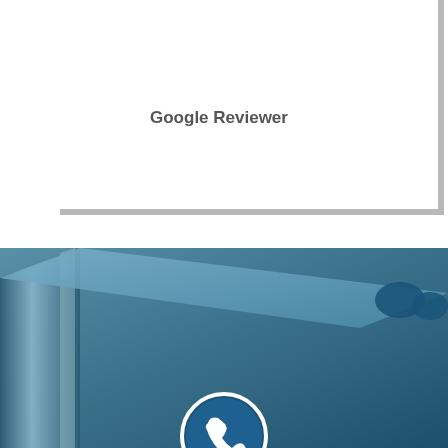it.
Google Reviewer
[Figure (illustration): Blue 3D box/folder shape with a phone icon circle at the bottom center, dark teal/blue gradient background forming a 3D book or binder shape]